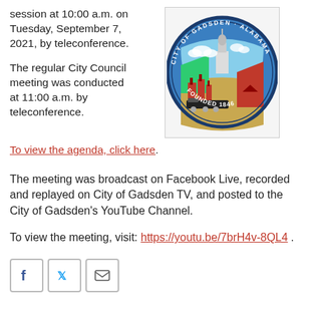session at 10:00 a.m. on Tuesday, September 7, 2021, by teleconference.

The regular City Council meeting was conducted at 11:00 a.m. by teleconference.
[Figure (illustration): City of Gadsden, Alabama official seal — circular seal with text 'CITY OF GADSDEN ALABAMA' around the border, central imagery of a monument/statue, industrial factories, a train, fields, a barn, and 'FOUNDED 1846' at the bottom.]
To view the agenda, click here.
The meeting was broadcast on Facebook Live, recorded and replayed on City of Gadsden TV, and posted to the City of Gadsden's YouTube Channel.
To view the meeting, visit: https://youtu.be/7brH4v-8QL4 .
[Figure (other): Social media icons: Facebook, Twitter, and email/envelope icons in square bordered boxes.]